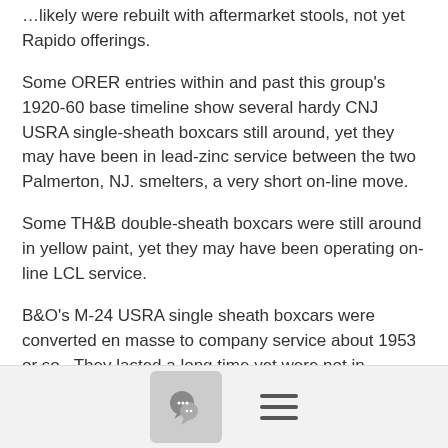…likely were rebuilt with aftermarket stools, not yet Rapido offerings.
Some ORER entries within and past this group's 1920-60 base timeline show several hardy CNJ USRA single-sheath boxcars still around, yet they may have been in lead-zinc service between the two Palmerton, NJ. smelters, a very short on-line move.
Some TH&B double-sheath boxcars were still around in yellow paint, yet they may have been operating on-line LCL service.
B&O's M-24 USRA single sheath boxcars were converted en masse to company service about 1953 or so.  They lasted a long time yet were not in revenue service anymore.   The last M-24a/b boxcars equippped with hoppers for cement loading lost their jobs about 1958.
Insights about long-lived USRA wood boxcars in an original hardware appearance would be welcome.
[Figure (other): Footer bar with comment bubble icon button and hamburger menu icon]